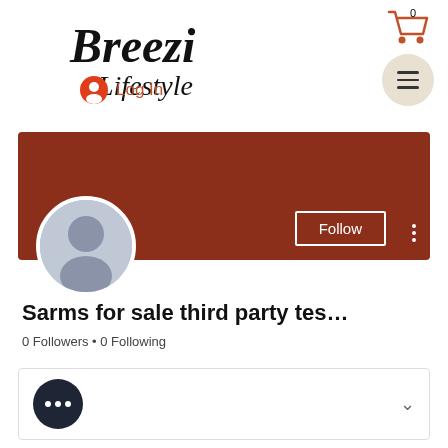[Figure (logo): Breezi Lifestyle logo in italic cursive font]
[Figure (infographic): Shopping cart icon with 0 badge and hamburger menu button]
Log In
[Figure (screenshot): Dark red/brown profile banner]
[Figure (photo): Default grey user profile picture avatar]
Follow
Sarms for sale third party tes...
0 Followers • 0 Following